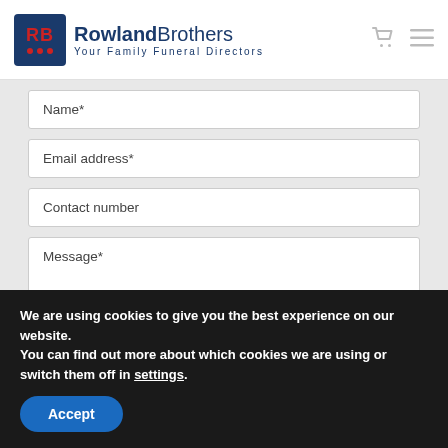[Figure (logo): Rowland Brothers funeral directors logo with dark blue RB initials and red dots on dark blue background, with company name and tagline 'Your Family Funeral Directors']
Name*
Email address*
Contact number
Message*
We are using cookies to give you the best experience on our website.
You can find out more about which cookies we are using or switch them off in settings.
Accept